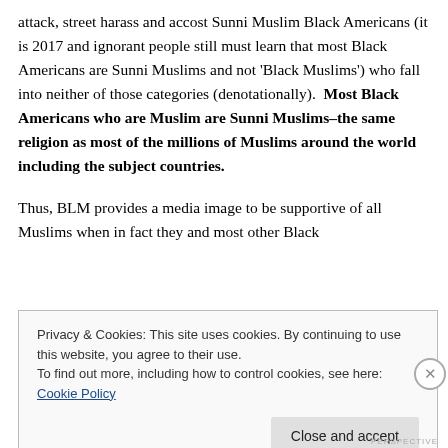attack, street harass and accost Sunni Muslim Black Americans (it is 2017 and ignorant people still must learn that most Black Americans are Sunni Muslims and not 'Black Muslims') who fall into neither of those categories (denotationally).  Most Black Americans who are Muslim are Sunni Muslims–the same religion as most of the millions of Muslims around the world including the subject countries.

Thus, BLM provides a media image to be supportive of all Muslims when in fact they and most other Black
Privacy & Cookies: This site uses cookies. By continuing to use this website, you agree to their use.
To find out more, including how to control cookies, see here: Cookie Policy
Close and accept